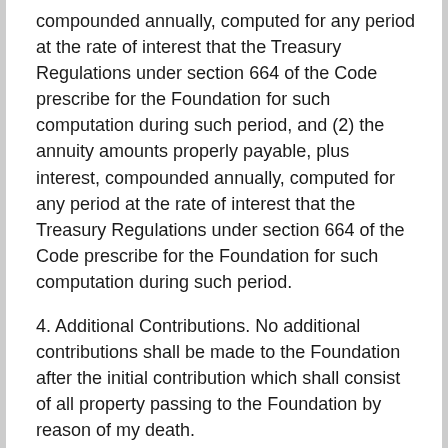compounded annually, computed for any period at the rate of interest that the Treasury Regulations under section 664 of the Code prescribe for the Foundation for such computation during such period, and (2) the annuity amounts properly payable, plus interest, compounded annually, computed for any period at the rate of interest that the Treasury Regulations under section 664 of the Code prescribe for the Foundation for such computation during such period.
4. Additional Contributions. No additional contributions shall be made to the Foundation after the initial contribution which shall consist of all property passing to the Foundation by reason of my death.